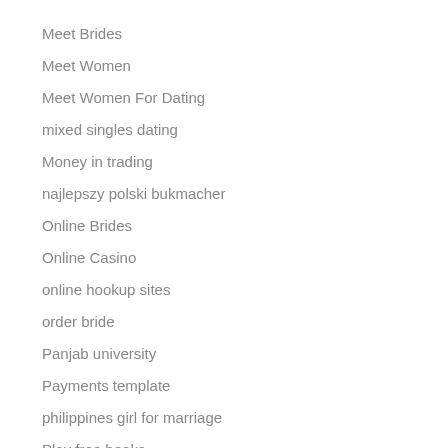Meet Brides
Meet Women
Meet Women For Dating
mixed singles dating
Money in trading
najlepszy polski bukmacher
Online Brides
Online Casino
online hookup sites
order bride
Panjab university
Payments template
philippines girl for marriage
Play free books